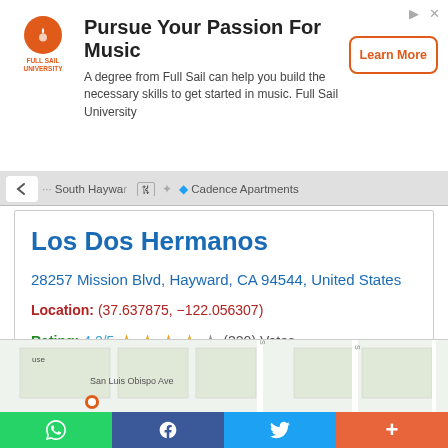[Figure (screenshot): Full Sail University advertisement banner: logo, title 'Pursue Your Passion For Music', description text, and 'Learn More' button]
Los Dos Hermanos
28257 Mission Blvd, Hayward, CA 94544, United States
Location: (37.637875, -122.056307)
Rating: 4.2/5 ★★★★☆ (320) Votes
[Figure (screenshot): Google Maps snippet showing street layout near San Luis Obispo Ave]
[Figure (screenshot): Social share bar with WhatsApp, Facebook, Twitter, and plus buttons]